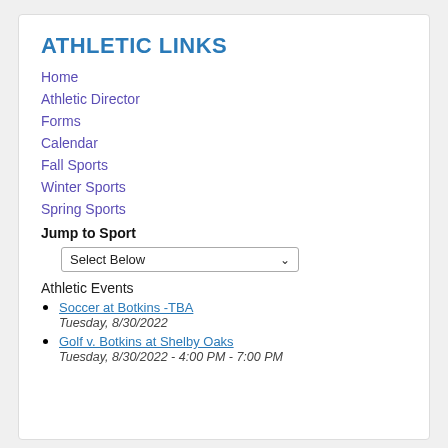ATHLETIC LINKS
Home
Athletic Director
Forms
Calendar
Fall Sports
Winter Sports
Spring Sports
Jump to Sport
Select Below
Athletic Events
Soccer at Botkins -TBA
Tuesday, 8/30/2022
Golf v. Botkins at Shelby Oaks
Tuesday, 8/30/2022 - 4:00 PM - 7:00 PM